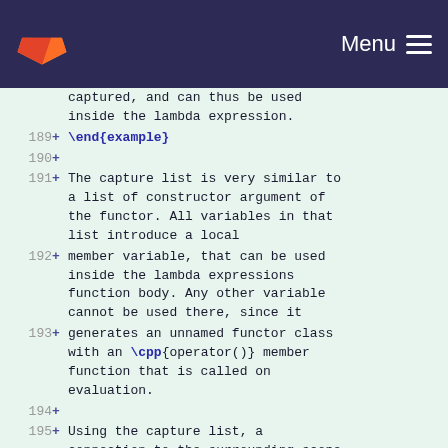Menu
captured, and can thus be used inside the lambda expression.
189 + \end{example}
190 +
191 + The capture list is very similar to a list of constructor argument of the functor. All variables in that list introduce a local
192 + member variable, that can be used inside the lambda expressions function body. Any other variable cannot be used there, since it
193 + generates an unnamed functor class with an \cpp{operator()} member function that is called on evaluation.
194 +
195 + Using the capture list, a connection to the surrounding scope can be established. The following